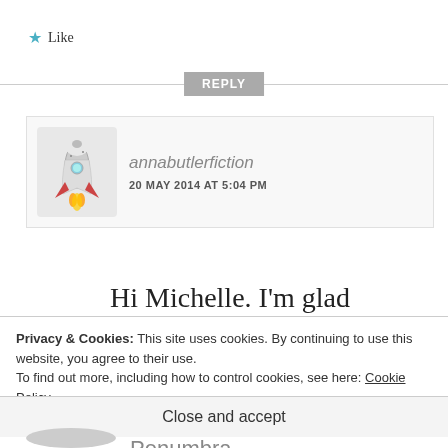Like
REPLY
[Figure (screenshot): Comment by annabutlerfiction with rocket emoji avatar, dated 20 MAY 2014 AT 5:04 PM]
Hi Michelle. I'm glad the post interested you and I hope
Privacy & Cookies: This site uses cookies. By continuing to use this website, you agree to their use. To find out more, including how to control cookies, see here: Cookie Policy
Close and accept
Penumbra